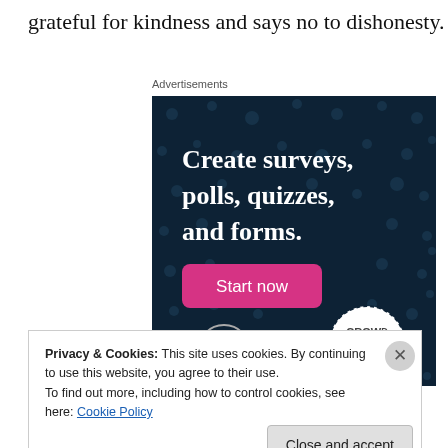grateful for kindness and says no to dishonesty.
Advertisements
[Figure (screenshot): Advertisement for Crowdsignal: dark teal background with dots, white bold text 'Create surveys, polls, quizzes, and forms.', pink 'Start now' button, WordPress logo bottom left, Crowdsignal circular logo bottom right.]
Privacy & Cookies: This site uses cookies. By continuing to use this website, you agree to their use.
To find out more, including how to control cookies, see here: Cookie Policy